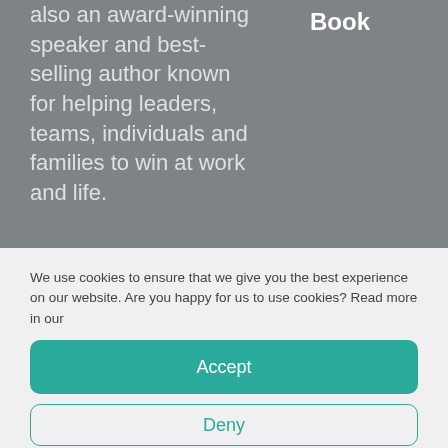also an award-winning speaker and best-selling author known for helping leaders, teams, individuals and families to win at work and life.
Book
We use cookies to ensure that we give you the best experience on our website. Are you happy for us to use cookies? Read more in our
Accept
Deny